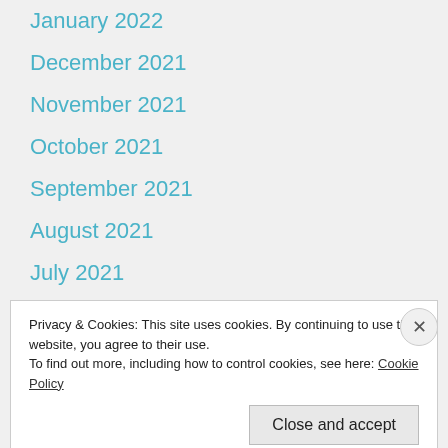January 2022
December 2021
November 2021
October 2021
September 2021
August 2021
July 2021
June 2021
May 2021
April 2021
Privacy & Cookies: This site uses cookies. By continuing to use this website, you agree to their use. To find out more, including how to control cookies, see here: Cookie Policy
Close and accept